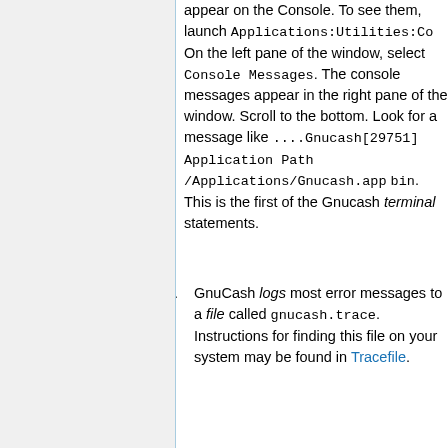appear on the Console. To see them, launch Applications:Utilities:Co On the left pane of the window, select Console Messages. The console messages appear in the right pane of the window. Scroll to the bottom. Look for a message like ....Gnucash[29751] Application Path /Applications/Gnucash.app bin. This is the first of the Gnucash terminal statements.
GnuCash logs most error messages to a file called gnucash.trace. Instructions for finding this file on your system may be found in Tracefile.